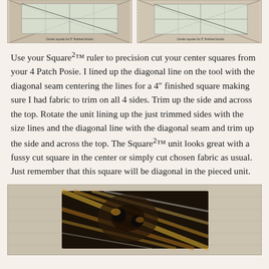[Figure (photo): Two photos side by side showing a Square2 ruler being used to center and cut a square from a 4 Patch Posie block. Each image shows the ruler with diagonal lines over patchwork fabric. Bottom text on each reads 'Center square for 5" finished blocks'.]
Use your Square²™ ruler to precision cut your center squares from your 4 Patch Posie. I lined up the diagonal line on the tool with the diagonal seam centering the lines for a 4″ finished square making sure I had fabric to trim on all 4 sides. Trim up the side and across the top. Rotate the unit lining up the just trimmed sides with the size lines and the diagonal line with the diagonal seam and trim up the side and across the top. The Square²™ unit looks great with a fussy cut square in the center or simply cut chosen fabric as usual. Just remember that this square will be diagonal in the pieced unit.
[Figure (photo): Photo of patchwork fabric with a black, white, and golden/brown floral or leaf pattern pieced together on a linen/beige background, shown at the bottom of the page.]